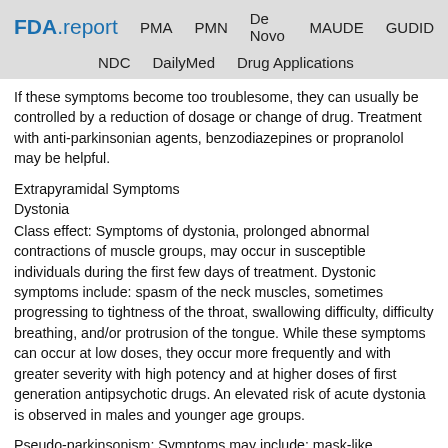FDA.report  PMA  PMN  De Novo  MAUDE  GUDID  NDC  DailyMed  Drug Applications
If these symptoms become too troublesome, they can usually be controlled by a reduction of dosage or change of drug. Treatment with anti-parkinsonian agents, benzodiazepines or propranolol may be helpful.
Extrapyramidal Symptoms
Dystonia
Class effect: Symptoms of dystonia, prolonged abnormal contractions of muscle groups, may occur in susceptible individuals during the first few days of treatment. Dystonic symptoms include: spasm of the neck muscles, sometimes progressing to tightness of the throat, swallowing difficulty, difficulty breathing, and/or protrusion of the tongue. While these symptoms can occur at low doses, they occur more frequently and with greater severity with high potency and at higher doses of first generation antipsychotic drugs. An elevated risk of acute dystonia is observed in males and younger age groups.
Pseudo-parkinsonism: Symptoms may include: mask-like